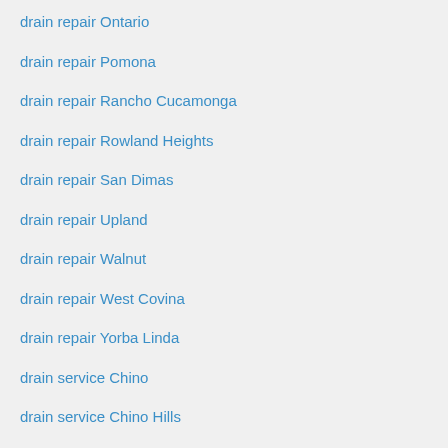drain repair Ontario
drain repair Pomona
drain repair Rancho Cucamonga
drain repair Rowland Heights
drain repair San Dimas
drain repair Upland
drain repair Walnut
drain repair West Covina
drain repair Yorba Linda
drain service Chino
drain service Chino Hills
drain service Claremont
drain service Corona
drain service Covina
drain service Diamond Bar